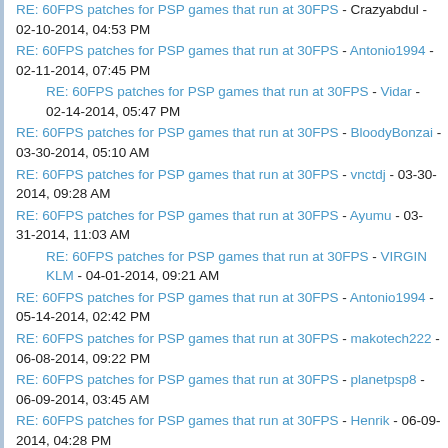RE: 60FPS patches for PSP games that run at 30FPS - Crazyabdul - 02-10-2014, 04:53 PM
RE: 60FPS patches for PSP games that run at 30FPS - Antonio1994 - 02-11-2014, 07:45 PM
RE: 60FPS patches for PSP games that run at 30FPS - Vidar - 02-14-2014, 05:47 PM
RE: 60FPS patches for PSP games that run at 30FPS - BloodyBonzai - 03-30-2014, 05:10 AM
RE: 60FPS patches for PSP games that run at 30FPS - vnctdj - 03-30-2014, 09:28 AM
RE: 60FPS patches for PSP games that run at 30FPS - Ayumu - 03-31-2014, 11:03 AM
RE: 60FPS patches for PSP games that run at 30FPS - VIRGIN KLM - 04-01-2014, 09:21 AM
RE: 60FPS patches for PSP games that run at 30FPS - Antonio1994 - 05-14-2014, 02:42 PM
RE: 60FPS patches for PSP games that run at 30FPS - makotech222 - 06-08-2014, 09:22 PM
RE: 60FPS patches for PSP games that run at 30FPS - planetpsp8 - 06-09-2014, 03:45 AM
RE: 60FPS patches for PSP games that run at 30FPS - Henrik - 06-09-2014, 04:28 PM
RE: 60FPS patches for PSP games that run at 30FPS - gdmk02 - 06-17-2014, 03:35 AM
RE: 60FPS patches for PSP games that run at 30FPS - Goshorai -